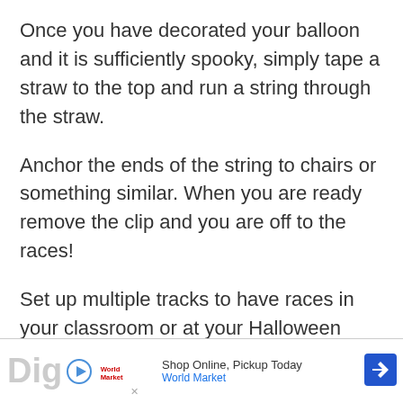Once you have decorated your balloon and it is sufficiently spooky, simply tape a straw to the top and run a string through the straw.
Anchor the ends of the string to chairs or something similar. When you are ready remove the clip and you are off to the races!
Set up multiple tracks to have races in your classroom or at your Halloween Party and make it a spooky, fun game!
Dig | Shop Online, Pickup Today | World Market